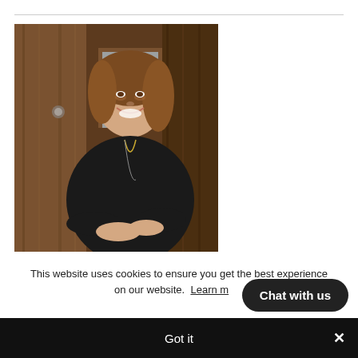[Figure (photo): Professional headshot of a woman with shoulder-length brown hair, wearing a black top with a long necklace, arms crossed, smiling, standing against a wooden wall background.]
This website uses cookies to ensure you get the best experience on our website.  Learn more
Got it
Chat with us
×